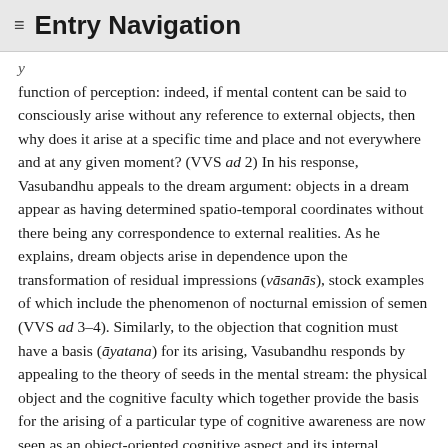≡ Entry Navigation
function of perception: indeed, if mental content can be said to consciously arise without any reference to external objects, then why does it arise at a specific time and place and not everywhere and at any given moment? (VVS ad 2) In his response, Vasubandhu appeals to the dream argument: objects in a dream appear as having determined spatio-temporal coordinates without there being any correspondence to external realities. As he explains, dream objects arise in dependence upon the transformation of residual impressions (vāsanās), stock examples of which include the phenomenon of nocturnal emission of semen (VVS ad 3–4). Similarly, to the objection that cognition must have a basis (āyatana) for its arising, Vasubandhu responds by appealing to the theory of seeds in the mental stream: the physical object and the cognitive faculty which together provide the basis for the arising of a particular type of cognitive awareness are now seen as an object-oriented cognitive aspect and its internal representation. It only seems as though a patch of color and the visual system which processes it are the